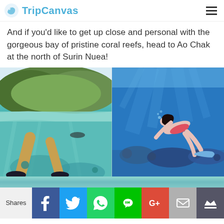TripCanvas
And if you'd like to get up close and personal with the gorgeous bay of pristine coral reefs, head to Ao Chak at the north of Surin Nuea!
[Figure (photo): Split underwater/above-water photo of a person snorkeling in clear turquoise water with a green tropical island coastline visible above the surface; left of two side-by-side photos]
[Figure (photo): Underwater photo of a woman swimming/freediving above a coral reef in vivid blue water; right of two side-by-side photos]